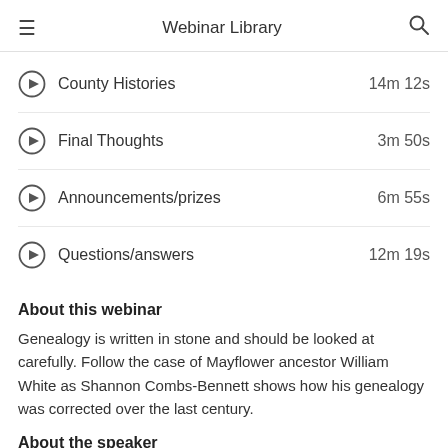Webinar Library
County Histories 14m 12s
Final Thoughts 3m 50s
Announcements/prizes 6m 55s
Questions/answers 12m 19s
About this webinar
Genealogy is written in stone and should be looked at carefully. Follow the case of Mayflower ancestor William White as Shannon Combs-Bennett shows how his genealogy was corrected over the last century.
About the speaker